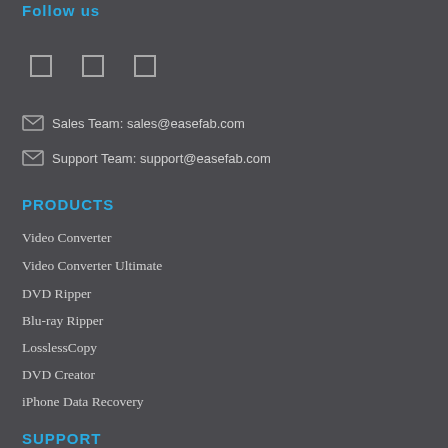Follow us
[Figure (illustration): Three social media icon placeholders (square outlines)]
Sales Team: sales@easefab.com
Support Team: support@easefab.com
PRODUCTS
Video Converter
Video Converter Ultimate
DVD Ripper
Blu-ray Ripper
LosslessCopy
DVD Creator
iPhone Data Recovery
SUPPORT